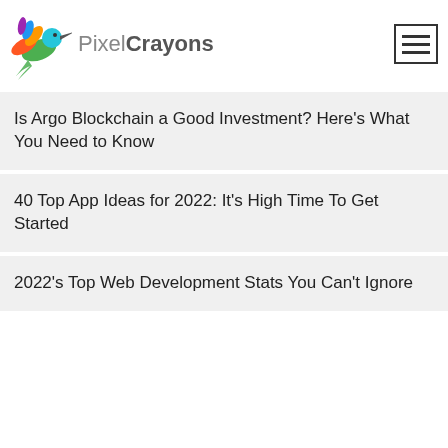PixelCrayons
Is Argo Blockchain a Good Investment? Here's What You Need to Know
40 Top App Ideas for 2022: It's High Time To Get Started
2022's Top Web Development Stats You Can't Ignore